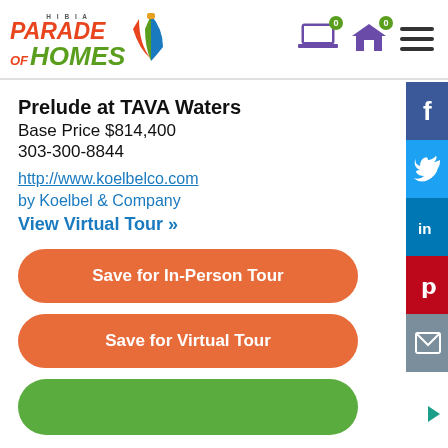HIBIA Parade of Homes
Prelude at TAVA Waters
Base Price $814,400
303-300-8844
http://www.koelbelco.com
by Koelbel & Company
View Virtual Tour »
Save for In-Person Tour
Save for Virtual Tour